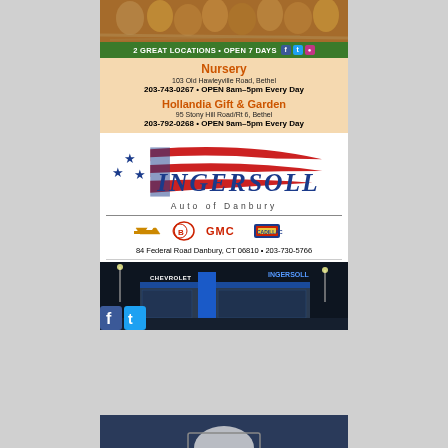[Figure (advertisement): Hollandia Nurseries advertisement. Top photo of eggs/hay. Green banner: 2 GREAT LOCATIONS • OPEN 7 DAYS with social icons. Peach body: Nursery at 103 Old Hawleyville Road Bethel, 203-743-0267, OPEN 8am-5pm Every Day; Hollandia Gift & Garden at 95 Stony Hill Road/Rt 6 Bethel, 203-792-0268, OPEN 9am-5pm Every Day. Green footer: www.hollandianurseries.com]
[Figure (advertisement): Ingersoll Auto of Danbury advertisement. Logo with stars and red/white swoosh stripes, INGERSOLL in large blue italic text, Auto of Danbury below. Car brand logos (Chevrolet, Buick, GMC, Cadillac). Address: 84 Federal Road Danbury CT 06810 • 203-730-5766. Bottom photo of dealership at night with Facebook and Twitter icons.]
[Figure (advertisement): Partial third advertisement visible at bottom of page, dark blue background.]